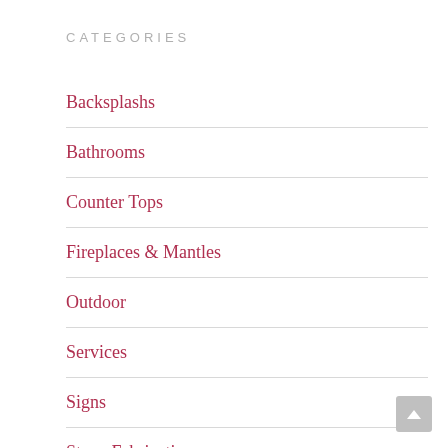CATEGORIES
Backsplashs
Bathrooms
Counter Tops
Fireplaces & Mantles
Outdoor
Services
Signs
Stone Fabrication
Stone Options